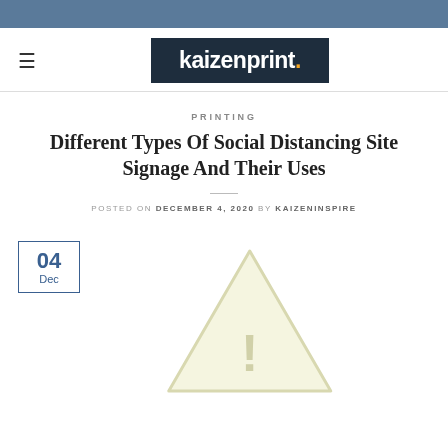[Figure (logo): Kaizenprint logo: dark navy background with white bold text 'kaizenprint.' with an orange dot]
PRINTING
Different Types Of Social Distancing Site Signage And Their Uses
POSTED ON DECEMBER 4, 2020 BY KAIZENINSPIRE
[Figure (other): Date box showing 04 Dec with a broken image placeholder (warning triangle icon) to the right]